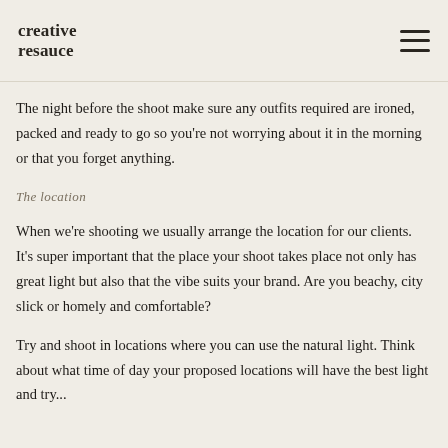creative resauce
The night before the shoot make sure any outfits required are ironed, packed and ready to go so you're not worrying about it in the morning or that you forget anything.
The location
When we're shooting we usually arrange the location for our clients. It's super important that the place your shoot takes place not only has great light but also that the vibe suits your brand. Are you beachy, city slick or homely and comfortable?
Try and shoot in locations where you can use the natural light. Think about what time of day your proposed locations will have the best light and try...